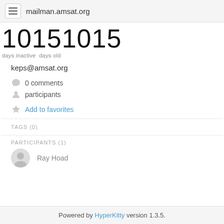mailman.amsat.org
10151015
days inactive  days old
keps@amsat.org
0 comments
participants
Add to favorites
TAGS (0)
PARTICIPANTS (1)
Ray Hoad
Powered by HyperKitty version 1.3.5.